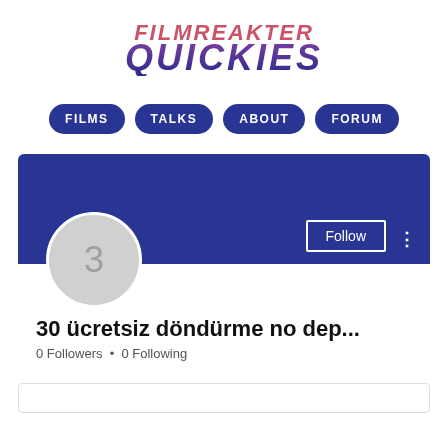[Figure (logo): Filmreakter Quickies logo with 'FILMREAKTER' in pink italic and 'QUICKIES' in large purple-to-dark-blue gradient italic bold text]
[Figure (screenshot): Navigation bar with four dark blue pill-shaped buttons: FILMS, TALKS, ABOUT, FORUM]
[Figure (screenshot): User profile card with dark blue banner, circular avatar showing number 3, Follow button, and three-dot menu]
30 ücretsiz döndürme no dep...
0 Followers • 0 Following